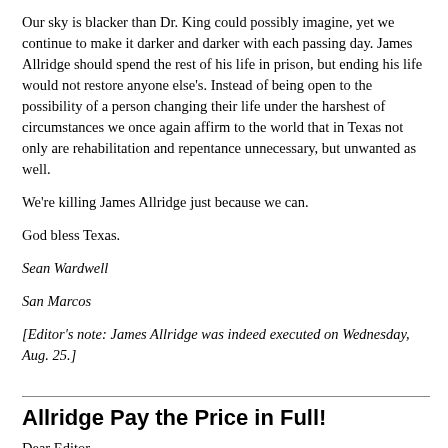Our sky is blacker than Dr. King could possibly imagine, yet we continue to make it darker and darker with each passing day. James Allridge should spend the rest of his life in prison, but ending his life would not restore anyone else's. Instead of being open to the possibility of a person changing their life under the harshest of circumstances we once again affirm to the world that in Texas not only are rehabilitation and repentance unnecessary, but unwanted as well.
We're killing James Allridge just because we can.
God bless Texas.
Sean Wardwell
San Marcos
[Editor's note: James Allridge was indeed executed on Wednesday, Aug. 25.]
Allridge Pay the Price in Full!
Dear Editor,
I was really disgusted by the story presented on James Allridge ["No